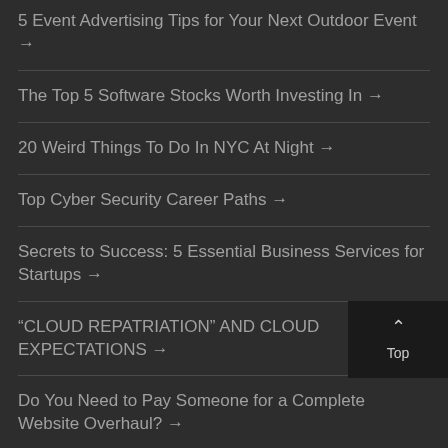5 Event Advertising Tips for Your Next Outdoor Event →
The Top 5 Software Stocks Worth Investing In →
20 Weird Things To Do In NYC At Night →
Top Cyber Security Career Paths →
Secrets to Success: 5 Essential Business Services for Startups →
“CLOUD REPATRIATION” AND CLOUD EXPECTATIONS →
Do You Need to Pay Someone for a Complete Website Overhaul? →